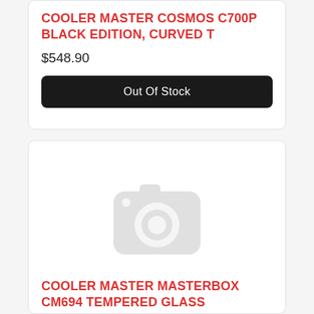COOLER MASTER COSMOS C700P BLACK EDITION, CURVED T
$548.90
Out Of Stock
[Figure (illustration): Placeholder camera icon indicating no product image available]
COOLER MASTER MASTERBOX CM694 TEMPERED GLASS